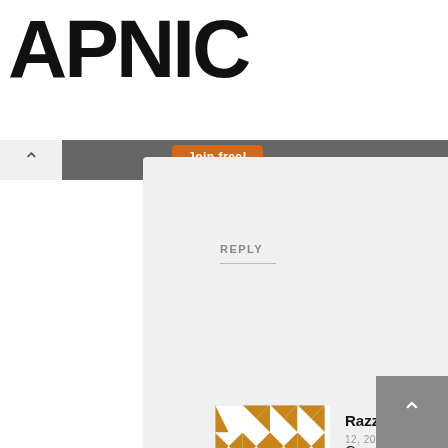[Figure (logo): APNIC logo in large bold black text]
Thank you for helping us measure the Internet.
Join free!
REPLY
[Figure (illustration): Golden and white geometric quilt pattern avatar for user Razzy 7]
Razzy 7   JULY 12, 2018
Great idea – sauteeing the shrimp to almost done before starting the risotto so you can use any liquid from the shrimp as part of the cooking